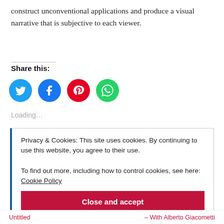construct unconventional applications and produce a visual narrative that is subjective to each viewer.
Share this:
[Figure (other): Four circular social share icons: Twitter (cyan), Facebook (blue), Pinterest (red), WhatsApp (green)]
Loading...
Privacy & Cookies: This site uses cookies. By continuing to use this website, you agree to their use.
To find out more, including how to control cookies, see here: Cookie Policy
Close and accept
Untitled – With Alberto Giacometti